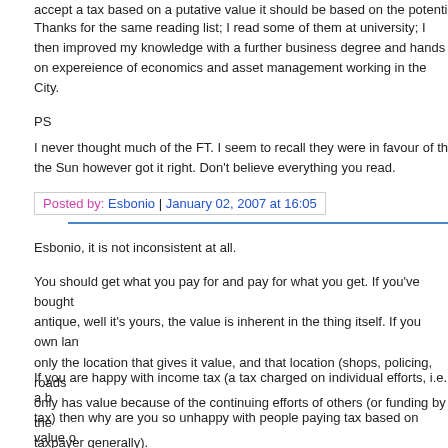accept a tax based on a putative value it should be based on the potential y...
Thanks for the same reading list; I read some of them at university; I then improved my knowledge with a further business degree and hands on expereience of economics and asset management working in the City.
PS
I never thought much of the FT. I seem to recall they were in favour of the E... the Sun however got it right. Don't believe everything you read.
Posted by: Esbonio | January 02, 2007 at 16:05
Esbonio, it is not inconsistent at all.
You should get what you pay for and pay for what you get. If you've bought antique, well it's yours, the value is inherent in the thing itself. If you own lan... only the location that gives it value, and that location (shops, policing, roads... only has value because of the continuing efforts of others (or funding by the taxpayer generally).
If you are happy with income tax (a tax charged on individual efforts, i.e. a b... tax) then why are you so unhappy with people paying tax based on value o... benefits that accrue to them at no personal effort whatsoever (of course we hate paying tax, but LVT does not discourage work and the economy or the efficient use of available land, probably the reverse)?